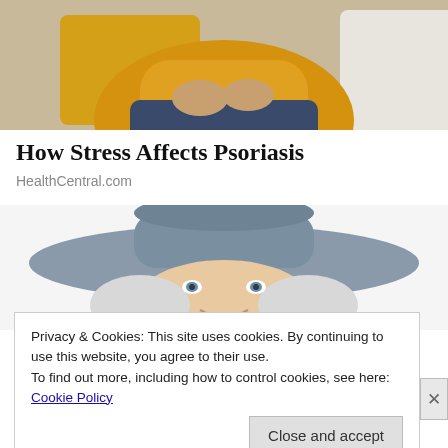[Figure (photo): Top portion of a photo showing a person in a yellow sweater sitting on a couch with yellow and white pillows, holding something in their hands.]
How Stress Affects Psoriasis
HealthCentral.com
[Figure (illustration): Illustration of a mascot character - an elderly person with white hair wearing a large grey cowboy hat, shown from the eyes up peeking into frame.]
Privacy & Cookies: This site uses cookies. By continuing to use this website, you agree to their use.
To find out more, including how to control cookies, see here:
Cookie Policy
Close and accept